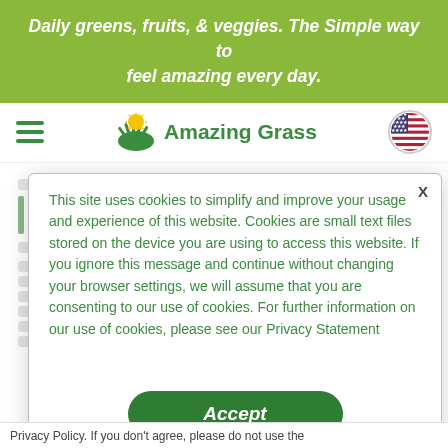Daily greens, fruits, & veggies. The Simple way to feel amazing every day.
[Figure (logo): Amazing Grass logo with sun/grass icon and green text, plus hamburger menu and US flag circle]
This site uses cookies to simplify and improve your usage and experience of this website. Cookies are small text files stored on the device you are using to access this website. If you ignore this message and continue without changing your browser settings, we will assume that you are consenting to our use of cookies. For further information on our use of cookies, please see our Privacy Statement
Accept
Privacy Policy. If you don't agree, please do not use the